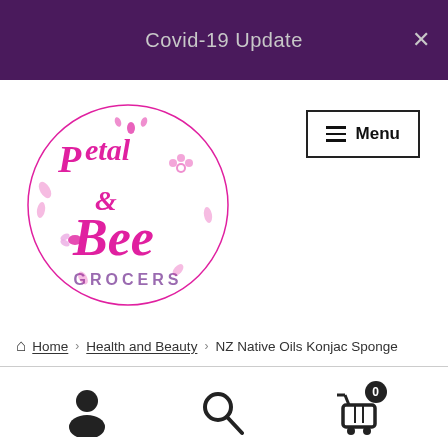Covid-19 Update
[Figure (logo): Petal & Bee Grocers logo in magenta/pink with decorative floral and bee elements]
Menu
Home › Health and Beauty › NZ Native Oils Konjac Sponge